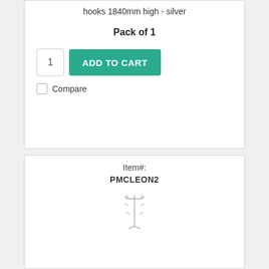hooks 1840mm high - silver
Pack of 1
1
ADD TO CART
Compare
Item#:
PMCLEON2
[Figure (illustration): Small illustration of a product — appears to be a tall narrow coat stand or hook rack, shown as a line drawing/icon]